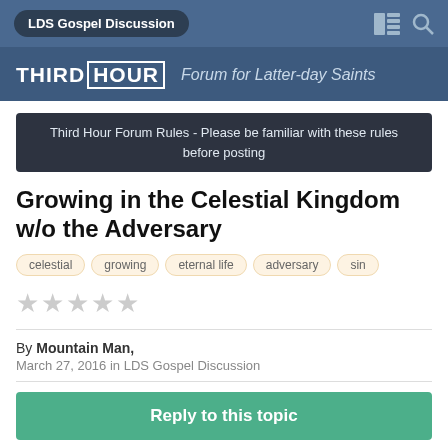LDS Gospel Discussion
[Figure (logo): Third Hour logo with tagline 'Forum for Latter-day Saints']
Third Hour Forum Rules - Please be familiar with these rules before posting
Growing in the Celestial Kingdom w/o the Adversary
celestial
growing
eternal life
adversary
sin
By Mountain Man, March 27, 2016 in LDS Gospel Discussion
Reply to this topic